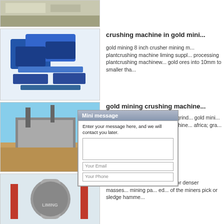[Figure (photo): Aerial/ground view of crushed stone/gravel pile]
[Figure (photo): Blue industrial crushing machine (impact crusher), 3D render]
crushing machine in gold mini...
gold mining 8 inch crusher mining m... plantcrushing machine liming suppl... processing plantcrushing machinew... gold ores into 10mm to smaller tha...
[Figure (photo): Mobile crushing plant on construction/mining site outdoors]
gold mining crushing machine...
gold mining crushing machine grind... gold mini... crushing into the digestive machine... africa; gra... Jan...
Crusher
In industry... fractional chunks or denser masses... mining pa... ed... of the miners pick or sledge hamme...
[Figure (photo): Large industrial mill/grinder with LIMING branding, red and grey structure]